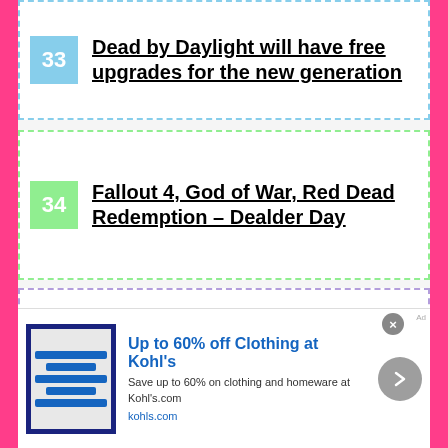33 Dead by Daylight will have free upgrades for the new generation
34 Fallout 4, God of War, Red Dead Redemption – Dealder Day
35 The Walking Dead The Telltale Series final season announced
36 Ghost of Tsushima also influences tourism and the island page
[Figure (infographic): Advertisement banner: Up to 60% off Clothing at Kohl's. Save up to 60% on clothing and homeware at Kohls.com. kohls.com]